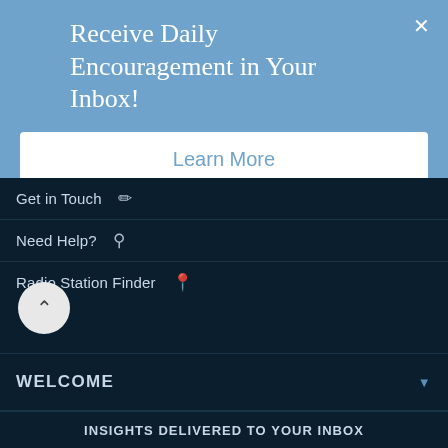Receive Daily Encouragement in Your Inbox!
Learn More
Get in Touch
Need Help?
Radio Station Finder
WELCOME
OUR RESOURCES
DONATE
INSIGHTS DELIVERED TO YOUR INBOX